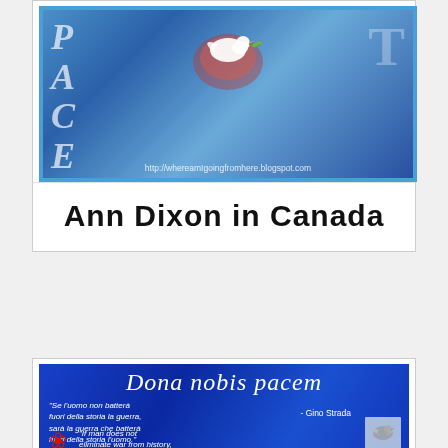[Figure (illustration): Blue peace mosaic image with PACEM text, white dove with olive branch and red flowers, figures in background, border in blue. URL: http://whereamIgoingfromhere.blogspot.com]
Ann Dixon in Canada
[Figure (illustration): Blue background image with 'Dona nobis pacem' title in white italic script. Italian quote by Gino Strada: 'Se l'uomo non batterà fuori della storia la guerra, sarà la guerra che batterà fuori della storia l'uomo.' English quote: 'If man does not eliminate war from history,' with dove icon and red poppy flower.]